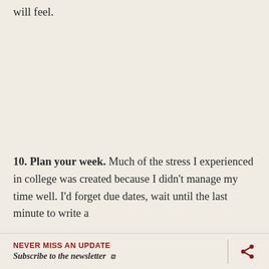will feel.
10. Plan your week. Much of the stress I experienced in college was created because I didn't manage my time well. I'd forget due dates, wait until the last minute to write a
NEVER MISS AN UPDATE
Subscribe to the newsletter